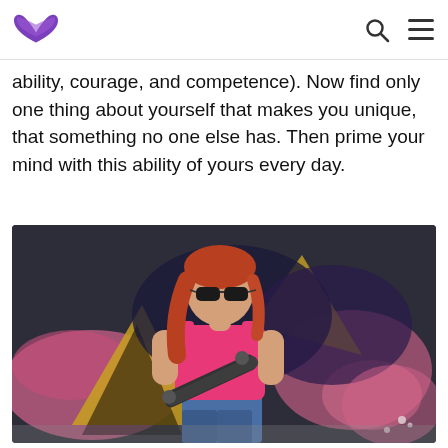[Logo] [Search icon] [Menu icon]
ability, courage, and competence). Now find only one thing about yourself that makes you unique, that something no one else has. Then prime your mind with this ability of yours every day.
[Figure (photo): Young woman with red hair and sunglasses wearing a pink tank top, holding a skateboard, standing in front of a colorful graffiti wall with pink, black, yellow and blue paint.]